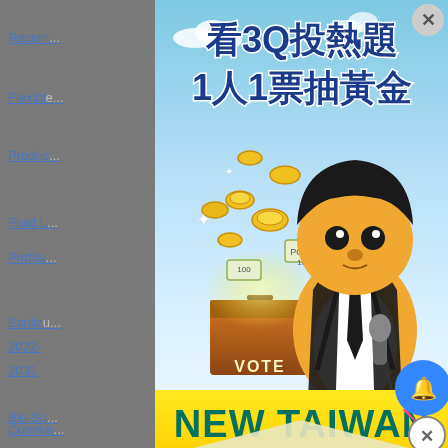Recom...
Flexibl...
Produc... 31
Fluid L...
Profita...
Eculiz... 2022-2031
Bio-So...
Healthy...
Comme...
Emerg...
[Figure (illustration): Promotional popup advertisement for '3Q 新台灣' (3Q New Taiwan). Features Chinese text '看3Q投熱題 1人1票抽黃金' (Watch 3Q hot topics, 1 person 1 vote draw gold), a cartoon character dressed in a white shirt and black tie holding a microphone, gold coins and ingots flying out of a ballot box labeled VOTE, a yellow banner reading 'NEW TAIWAN', a lightning bolt symbol, and a logo '3Q新台灣' at the bottom. A blue bell notification button and a circle-X close button are overlaid on the bottom right.]